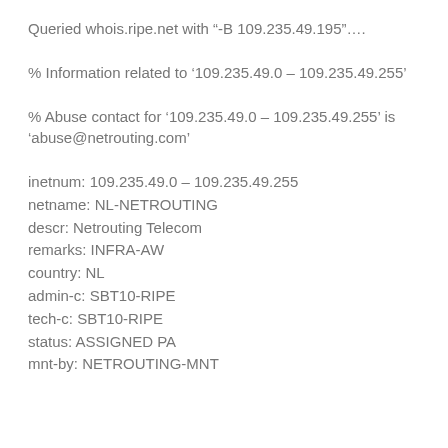Queried whois.ripe.net with "-B 109.235.49.195"….
% Information related to '109.235.49.0 – 109.235.49.255'
% Abuse contact for '109.235.49.0 – 109.235.49.255' is 'abuse@netrouting.com'
inetnum: 109.235.49.0 – 109.235.49.255
netname: NL-NETROUTING
descr: Netrouting Telecom
remarks: INFRA-AW
country: NL
admin-c: SBT10-RIPE
tech-c: SBT10-RIPE
status: ASSIGNED PA
mnt-by: NETROUTING-MNT